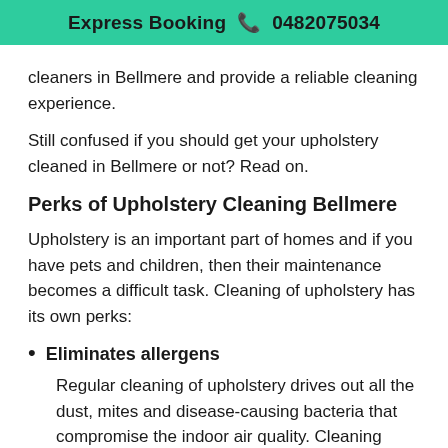Express Booking 📞 0482075034
cleaners in Bellmere and provide a reliable cleaning experience.
Still confused if you should get your upholstery cleaned in Bellmere or not? Read on.
Perks of Upholstery Cleaning Bellmere
Upholstery is an important part of homes and if you have pets and children, then their maintenance becomes a difficult task. Cleaning of upholstery has its own perks:
Eliminates allergens
Regular cleaning of upholstery drives out all the dust, mites and disease-causing bacteria that compromise the indoor air quality. Cleaning significantly